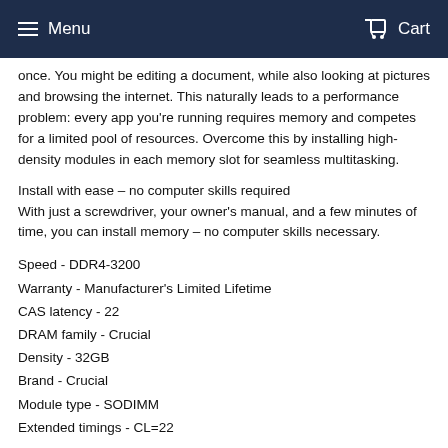Menu  Cart
once. You might be editing a document, while also looking at pictures and browsing the internet. This naturally leads to a performance problem: every app you're running requires memory and competes for a limited pool of resources. Overcome this by installing high-density modules in each memory slot for seamless multitasking.
Install with ease – no computer skills required
With just a screwdriver, your owner's manual, and a few minutes of time, you can install memory – no computer skills necessary.
Speed - DDR4-3200
Warranty - Manufacturer's Limited Lifetime
CAS latency - 22
DRAM family - Crucial
Density - 32GB
Brand - Crucial
Module type - SODIMM
Extended timings - CL=22